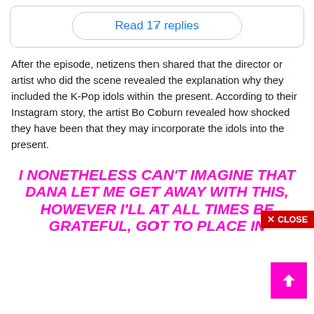[Figure (screenshot): Read 17 replies button inside a rounded rectangle box]
After the episode, netizens then shared that the director or artist who did the scene revealed the explanation why they included the K-Pop idols within the present. According to their Instagram story, the artist Bo Coburn revealed how shocked they have been that they may incorporate the idols into the present.
I NONETHELESS CAN'T IMAGINE THAT DANA LET ME GET AWAY WITH THIS, HOWEVER I'LL AT ALL TIMES BE GRATEFUL, GOT TO PLACE IN...
[Figure (screenshot): Red CLOSE button overlay]
[Figure (screenshot): Pink scroll-to-top arrow button]